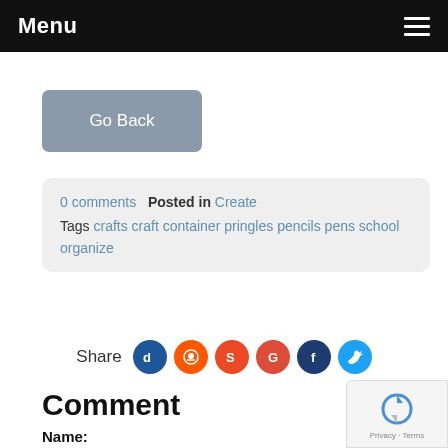Menu
Go Back
0 comments  Posted in Create
Tags crafts craft container pringles pencils pens school organize
Share
Comment
Name: